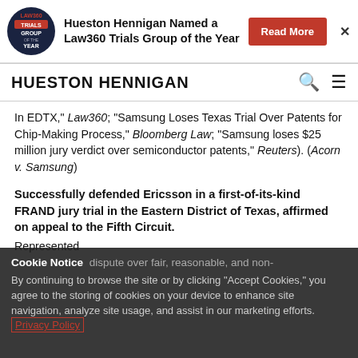[Figure (logo): Law360 Trials Group of the Year badge logo]
Hueston Hennigan Named a Law360 Trials Group of the Year
Read More
HUESTON HENNIGAN
In EDTX," Law360; "Samsung Loses Texas Trial Over Patents for Chip-Making Process," Bloomberg Law; "Samsung loses $25 million jury verdict over semiconductor patents," Reuters). (Acorn v. Samsung)
Successfully defended Ericsson in a first-of-its-kind FRAND jury trial in the Eastern District of Texas, affirmed on appeal to the Fifth Circuit.
Represented
Cookie Notice
dispute over fair, reasonable, and non-
By continuing to browse the site or by clicking “Accept Cookies,” you agree to the storing of cookies on your device to enhance site navigation, analyze site usage, and assist in our marketing efforts. Privacy Policy